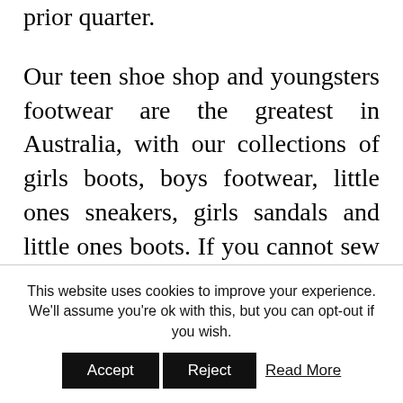prior quarter.
Our teen shoe shop and youngsters footwear are the greatest in Australia, with our collections of girls boots, boys footwear, little ones sneakers, girls sandals and little ones boots. If you cannot sew you could try some basic refashioning with fabric glue, having said that it does aid to have some simple understanding of clothing construction. These stores win big time with teens, providing time-honored fashions that are casual, bright, and exciting. Meanwhile, the
This website uses cookies to improve your experience. We'll assume you're ok with this, but you can opt-out if you wish.